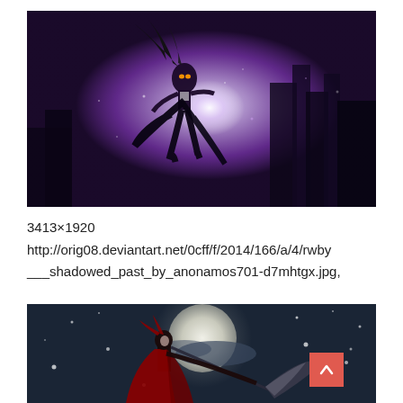[Figure (illustration): Anime-style digital artwork showing a dark-haired female character in black outfit leaping through a purple-tinted night cityscape with dramatic light burst effects]
3413×1920
http://orig08.deviantart.net/0cff/f/2014/166/a/4/rwby___shadowed_past_by_anonamos701-d7mhtgx.jpg,
[Figure (illustration): Anime-style digital artwork showing a red-caped female character with a scythe against a full moon in a dark night sky with falling snowflakes]